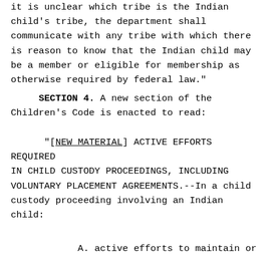it is unclear which tribe is the Indian child's tribe, the department shall communicate with any tribe with which there is reason to know that the Indian child may be a member or eligible for membership as otherwise required by federal law."
SECTION 4. A new section of the Children's Code is enacted to read:
"[NEW MATERIAL] ACTIVE EFFORTS REQUIRED IN CHILD CUSTODY PROCEEDINGS, INCLUDING VOLUNTARY PLACEMENT AGREEMENTS.--In a child custody proceeding involving an Indian child:
A. active efforts to maintain or